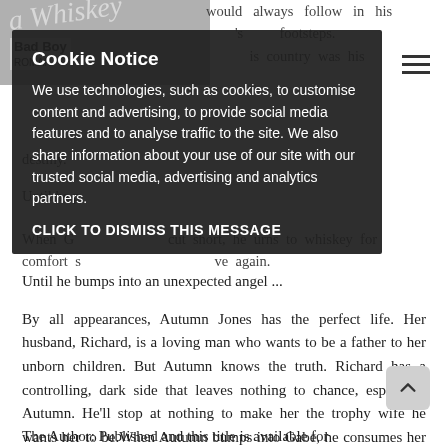[Figure (screenshot): Website header/logo area with grey image placeholder and Bad Boy logo text]
would always follow in his father's footsteps. is country was his destiny.
Until he p[artially visible text]
When G[abe's life is] cut short, he turns to whiskey for comfort s[eeking to] love again.
[Figure (screenshot): Cookie Notice overlay popup with dark background. Title: Cookie Notice. Body: We use technologies, such as cookies, to customise content and advertising, to provide social media features and to analyse traffic to the site. We also share information about your use of our site with our trusted social media, advertising and analytics partners. CLICK TO DISMISS THIS MESSAGE]
Until he bumps into an unexpected angel ...
By all appearances, Autumn Jones has the perfect life. Her husband, Richard, is a loving man who wants to be a father to her unborn children. But Autumn knows the truth. Richard has a controlling, dark side that leaves nothing to chance, especially Autumn. He'll stop at nothing to make her the trophy wife he wants her to be.When Autumn bumps into Gabe, he consumes her every thought, but she can't act on her feelings. She's married to a dark man she can never leave.When he learns who Autumn's husband really is, Gabe knows he will stop at nothing to protect her.
The Author: Published and this title is available for